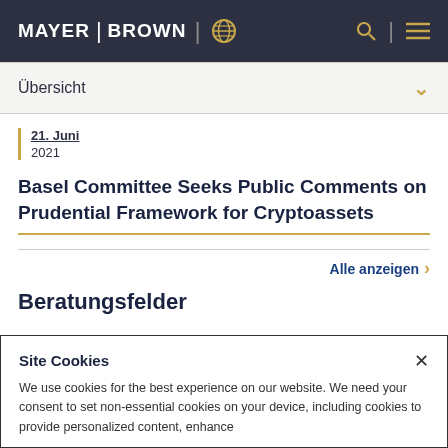MAYER | BROWN
Übersicht
21. Juni
2021
Basel Committee Seeks Public Comments on Prudential Framework for Cryptoassets
Alle anzeigen
Beratungsfelder
Site Cookies
We use cookies for the best experience on our website. We need your consent to set non-essential cookies on your device, including cookies to provide personalized content, enhance